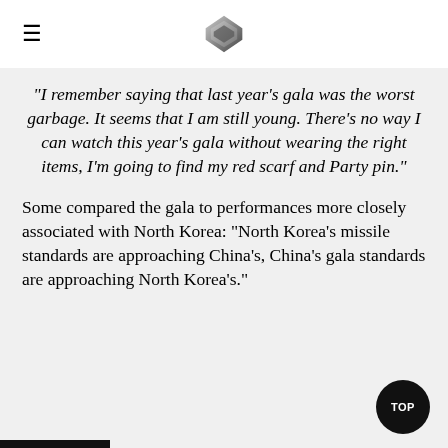≡ [logo]
“I remember saying that last year’s gala was the worst garbage. It seems that I am still young. There’s no way I can watch this year’s gala without wearing the right items, I’m going to find my red scarf and Party pin.”
Some compared the gala to performances more closely associated with North Korea: “North Korea’s missile standards are approaching China’s, China’s gala standards are approaching North Korea’s.”